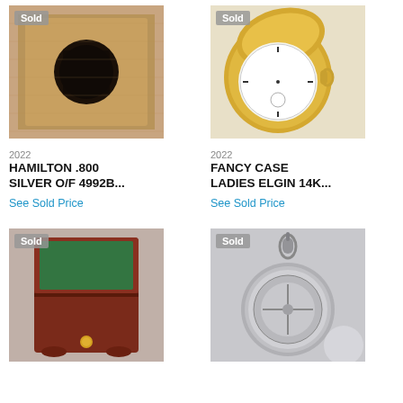[Figure (photo): Antique wooden box with circular compartment, sold badge in corner]
[Figure (photo): Ladies Elgin 14K gold fancy case pocket watch open showing dial, sold badge]
2022
2022
HAMILTON .800 SILVER O/F 4992B...
FANCY CASE LADIES ELGIN 14K...
See Sold Price
See Sold Price
[Figure (photo): Antique watch display case with green velvet interior and gold button, sold badge]
[Figure (photo): Antique silver open-face pocket watch with bow, sold badge]